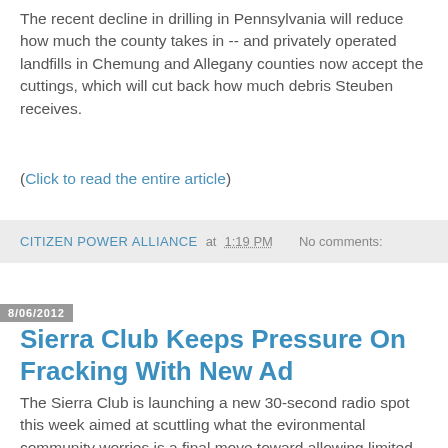The recent decline in drilling in Pennsylvania will reduce how much the county takes in -- and privately operated landfills in Chemung and Allegany counties now accept the cuttings, which will cut back how much debris Steuben receives.
(Click to read the entire article)
CITIZEN POWER ALLIANCE at 1:19 PM   No comments:
8/06/2012
Sierra Club Keeps Pressure On Fracking With New Ad
The Sierra Club is launching a new 30-second radio spot this week aimed at scuttling what the evironmental community worries is a final move toward allowing limited high-volume hydrofracking.
The spot will be running in several upstate areas, including Binghamton.